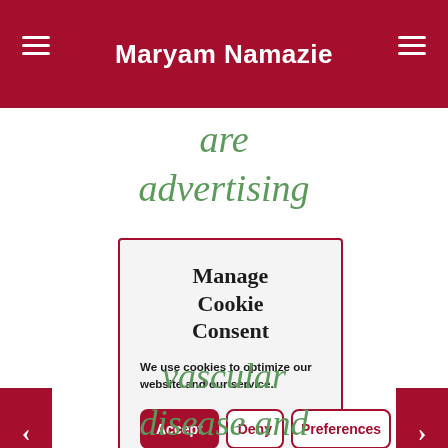Maryam Namazie
are advertising
Manage Cookie Consent
We use cookies to optimize our website and our service.
Accept | Deny | Preferences
vascular disease and diabetes) increases